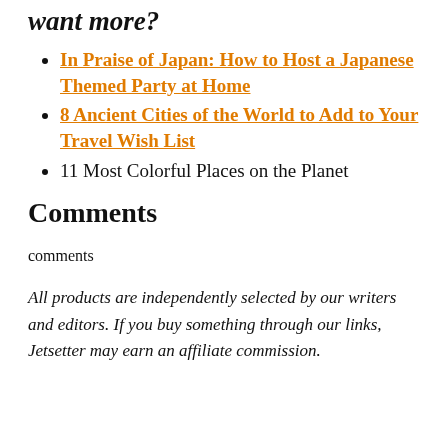want more?
In Praise of Japan: How to Host a Japanese Themed Party at Home
8 Ancient Cities of the World to Add to Your Travel Wish List
11 Most Colorful Places on the Planet
Comments
comments
All products are independently selected by our writers and editors. If you buy something through our links, Jetsetter may earn an affiliate commission.